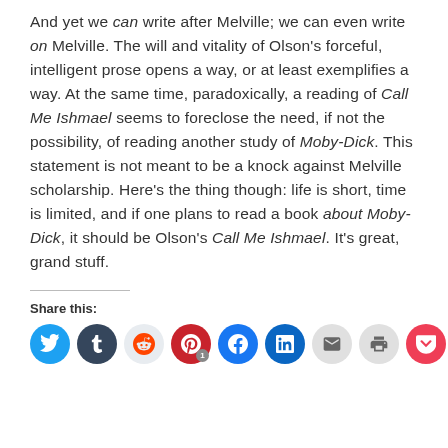And yet we can write after Melville; we can even write on Melville. The will and vitality of Olson's forceful, intelligent prose opens a way, or at least exemplifies a way. At the same time, paradoxically, a reading of Call Me Ishmael seems to foreclose the need, if not the possibility, of reading another study of Moby-Dick. This statement is not meant to be a knock against Melville scholarship. Here's the thing though: life is short, time is limited, and if one plans to read a book about Moby-Dick, it should be Olson's Call Me Ishmael. It's great, grand stuff.
Share this: